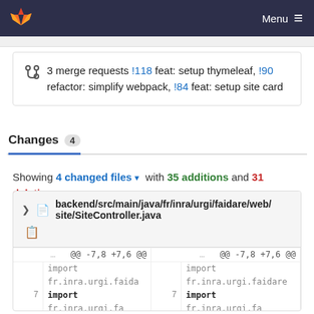GitLab — Menu
3 merge requests !118 feat: setup thymeleaf, !90 refactor: simplify webpack, !84 feat: setup site card
Changes 4
Showing 4 changed files ▾ with 35 additions and 31 deletions
backend/src/main/java/fr/inra/urgi/faidare/web/site/SiteController.java
| ... | @@ -7,8 +7,6 @@ | ... | @@ -7,8 +7,6 @@ |
| --- | --- | --- | --- |
| ... | import | ... | import |
|  | fr.inra.urgi.faida |  | fr.inra.urgi.faidare |
| 7 | import | 7 | import |
|  | fr.inra.urgi.fa |  | fr.inra.urgi.fa |